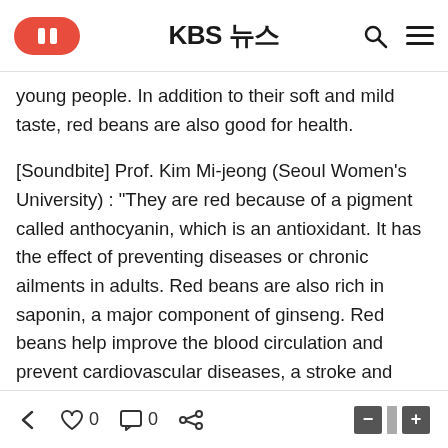KBS 뉴스
young people. In addition to their soft and mild taste, red beans are also good for health.
[Soundbite] Prof. Kim Mi-jeong (Seoul Women's University) : "They are red because of a pigment called anthocyanin, which is an antioxidant. It has the effect of preventing diseases or chronic ailments in adults. Red beans are also rich in saponin, a major component of ginseng. Red beans help improve the blood circulation and prevent cardiovascular diseases, a stroke and artery hardening."
Red bean porridge has been modernized as well with the changes of the time. Porridge with rice was popular in the past. But the modernized version is thinner and made with
← ♡ 0  □ 0  < share  — □ +